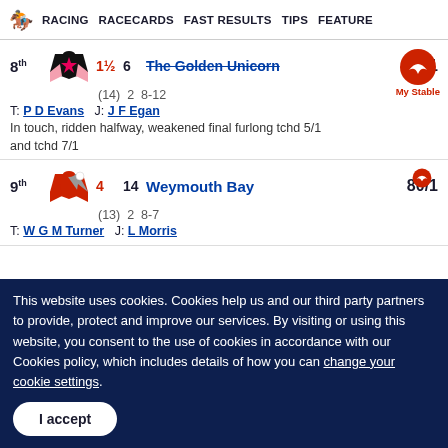RACING   RACECARDS   FAST RESULTS   TIPS   FEATURES
8th  1½  6  The Golden Unicorn  (14) 2 8-12  6/1
T: P D Evans  J: J F Egan
In touch, ridden halfway, weakened final furlong tchd 5/1 and tchd 7/1
9th  4  14  Weymouth Bay  (13) 2 8-7  80/1
T: W G M Turner  J: L Morris
This website uses cookies. Cookies help us and our third party partners to provide, protect and improve our services. By visiting or using this website, you consent to the use of cookies in accordance with our Cookies policy, which includes details of how you can change your cookie settings.
I accept